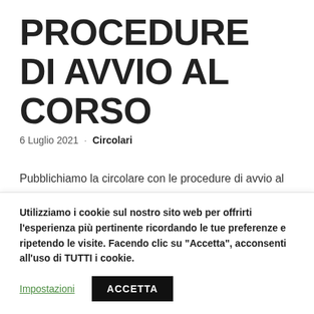PROCEDURE DI AVVIO AL CORSO
6 Luglio 2021 · Circolari
Pubblichiamo la circolare con le procedure di avvio al corso per il 213° Corso di formazione per allievi Agenti della Polizia di Stato da destinare ai gruppi sportivi…
Utilizziamo i cookie sul nostro sito web per offrirti l'esperienza più pertinente ricordando le tue preferenze e ripetendo le visite. Facendo clic su "Accetta", acconsenti all'uso di TUTTI i cookie.